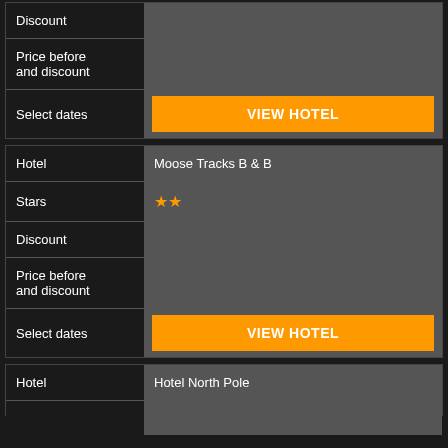| Field | Value |
| --- | --- |
| Discount |  |
| Price before and discount |  |
| Select dates | VIEW HOTEL |
| Field | Value |
| --- | --- |
| Hotel | Moose Tracks B & B |
| Stars | ★★ |
| Discount |  |
| Price before and discount |  |
| Select dates | VIEW HOTEL |
| Field | Value |
| --- | --- |
| Hotel | Hotel North Pole |